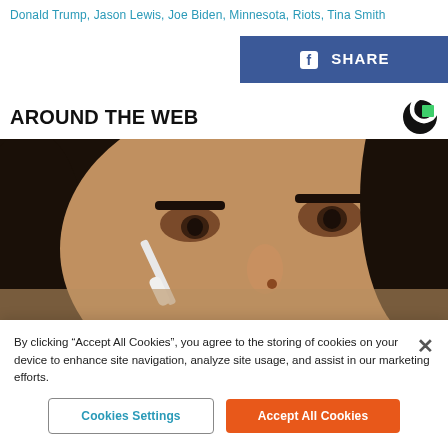Donald Trump, Jason Lewis, Joe Biden, Minnesota, Riots, Tina Smith
[Figure (other): Facebook Share button with blue background and white text]
AROUND THE WEB
[Figure (photo): Close-up photo of a woman with dark hair applying makeup/skincare product near her eye with a brush]
By clicking "Accept All Cookies", you agree to the storing of cookies on your device to enhance site navigation, analyze site usage, and assist in our marketing efforts.
Cookies Settings
Accept All Cookies